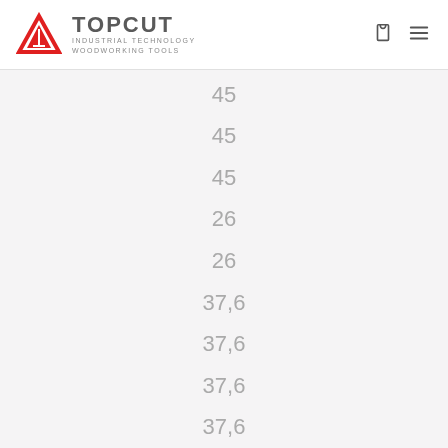TOPCUT INDUSTRIAL TECHNOLOGY WOODWORKING TOOLS
45
45
45
26
26
37,6
37,6
37,6
37,6